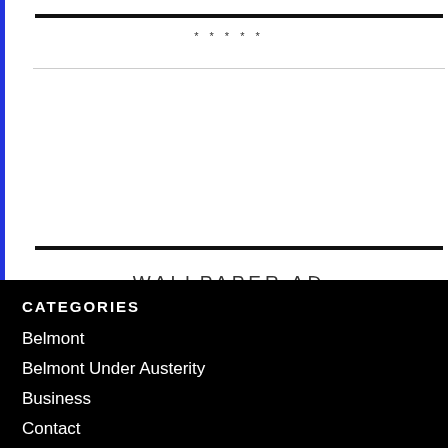* * * * *
WALLPAPER AD
CATEGORIES
Belmont
Belmont Under Austerity
Business
Contact
Coronavirus